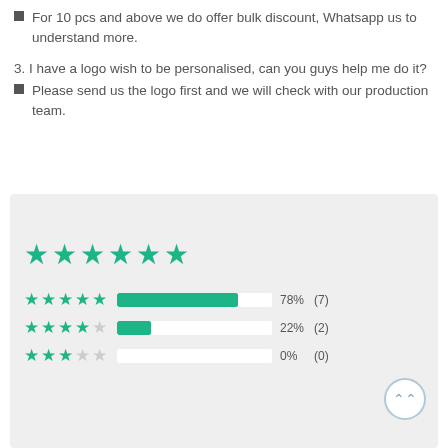For 10 pcs and above we do offer bulk discount, Whatsapp us to understand more.
3. I have a logo wish to be personalised, can you guys help me do it?
Please send us the logo first and we will check with our production team.
[Figure (bar-chart): Customer reviews]